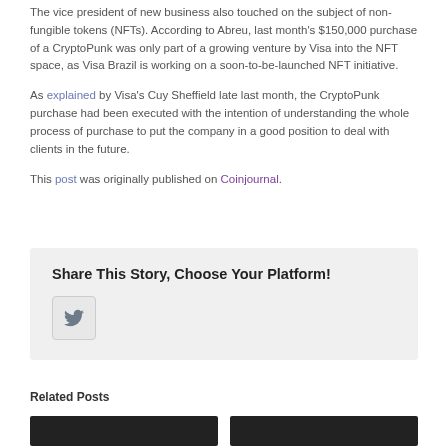The vice president of new business also touched on the subject of non-fungible tokens (NFTs). According to Abreu, last month's $150,000 purchase of a CryptoPunk was only part of a growing venture by Visa into the NFT space, as Visa Brazil is working on a soon-to-be-launched NFT initiative.
As explained by Visa's Cuy Sheffield late last month, the CryptoPunk purchase had been executed with the intention of understanding the whole process of purchase to put the company in a good position to deal with clients in the future.
This post was originally published on Coinjournal.
Share This Story, Choose Your Platform!
[Figure (other): Twitter share button icon]
Related Posts
[Figure (photo): Related post thumbnail image 1]
[Figure (photo): Related post thumbnail image 2]